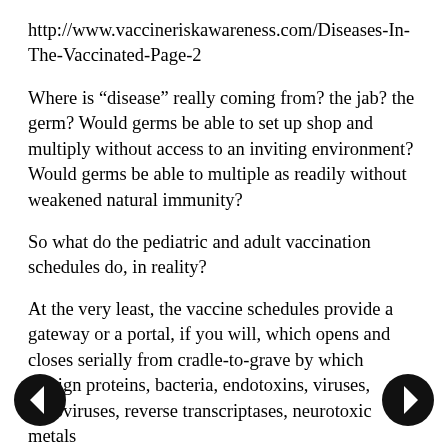http://www.vaccineriskawareness.com/Diseases-In-The-Vaccinated-Page-2
Where is “disease” really coming from? the jab? the germ? Would germs be able to set up shop and multiply without access to an inviting environment? Would germs be able to multiple as readily without weakened natural immunity?
So what do the pediatric and adult vaccination schedules do, in reality?
At the very least, the vaccine schedules provide a gateway or a portal, if you will, which opens and closes serially from cradle-to-grave by which foreign proteins, bacteria, endotoxins, viruses, retroviruses, reverse transcriptases, neurotoxic metals